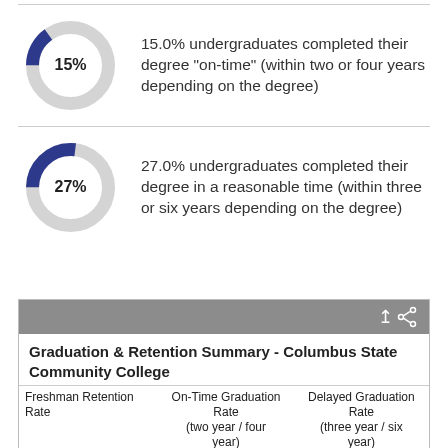[Figure (donut-chart): 15%]
15.0% undergraduates completed their degree "on-time" (within two or four years depending on the degree)
[Figure (donut-chart): 27%]
27.0% undergraduates completed their degree in a reasonable time (within three or six years depending on the degree)
| Freshman Retention Rate | On-Time Graduation Rate (two year / four year) | Delayed Graduation Rate (three year / six year) |
| --- | --- | --- |